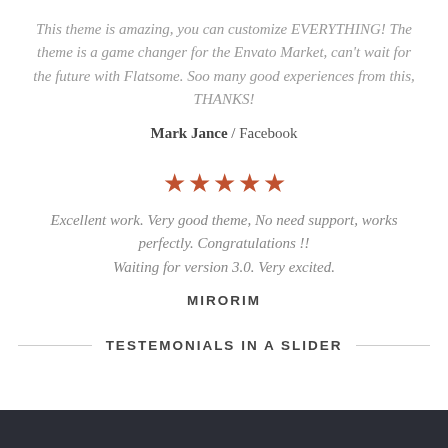This theme is amazing, you can customize EVERYTHING! The theme is a game changer for the Envato Market, can't wait for the future with Flatsome. Soo many good experiences from this, THANKS!
Mark Jance / Facebook
[Figure (other): Five filled orange-red star rating icons]
Excellent work. Very good theme, No need support, works perfectly. Congratulations !! Waiting for version 3.0. Very excited.
MIRORIM
TESTEMONIALS IN A SLIDER